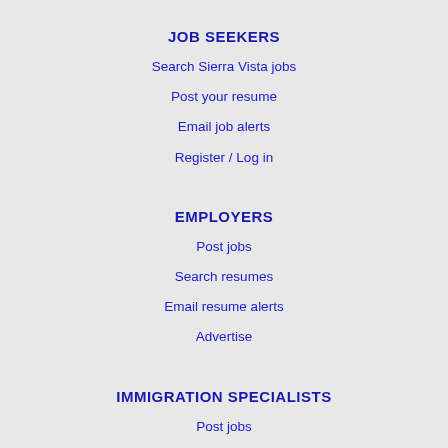JOB SEEKERS
Search Sierra Vista jobs
Post your resume
Email job alerts
Register / Log in
EMPLOYERS
Post jobs
Search resumes
Email resume alerts
Advertise
IMMIGRATION SPECIALISTS
Post jobs
Immigration FAQs